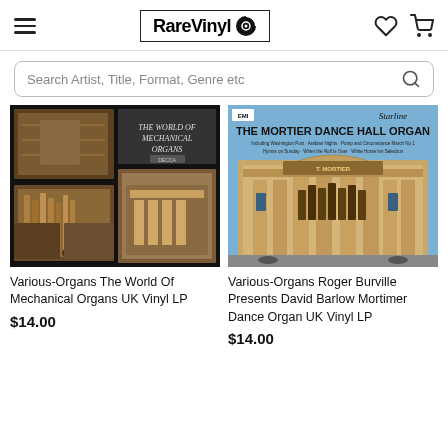RareVinyl
Search Artist, Title, Format, Genre etc
[Figure (photo): Album cover for 'The World of Mechanical Organs' on Decca label, showing collage of ornate mechanical organ images on dark background]
[Figure (photo): Album cover for 'The Mortier Dance Hall Organ' on EMI Starline label, showing ornate building facade with decorative organ front]
Various-Organs The World Of Mechanical Organs UK Vinyl LP
$14.00
Various-Organs Roger Burville Presents David Barlow Mortimer Dance Organ UK Vinyl LP
$14.00